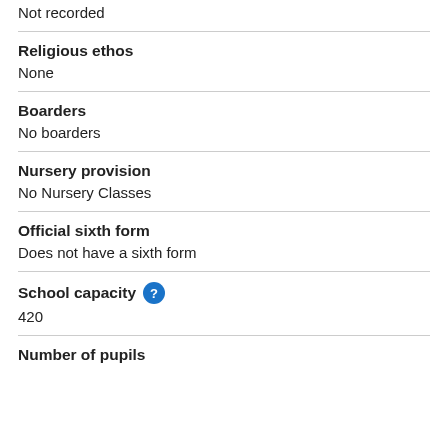Not recorded
Religious ethos
None
Boarders
No boarders
Nursery provision
No Nursery Classes
Official sixth form
Does not have a sixth form
School capacity
420
Number of pupils